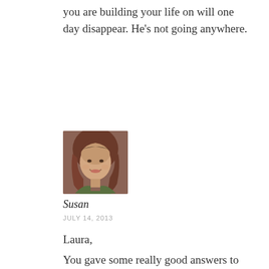you are building your life on will one day disappear. He's not going anywhere.
[Figure (photo): Portrait photo of a woman with curly brown hair, smiling, wearing a green top, with a dark background.]
Susan
JULY 14, 2013
Laura,
You gave some really good answers to Dawn about our idols…and in this, you put a name on